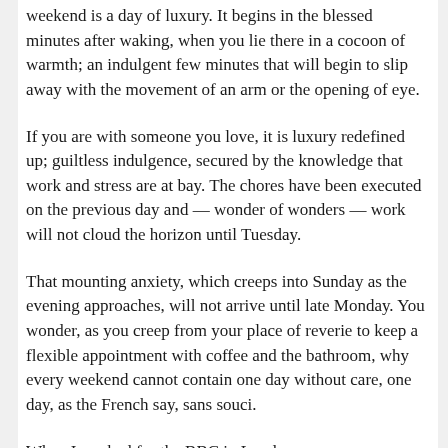weekend is a day of luxury. It begins in the blessed minutes after waking, when you lie there in a cocoon of warmth; an indulgent few minutes that will begin to slip away with the movement of an arm or the opening of eye.
If you are with someone you love, it is luxury redefined up; guiltless indulgence, secured by the knowledge that work and stress are at bay. The chores have been executed on the previous day and — wonder of wonders — work will not cloud the horizon until Tuesday.
That mounting anxiety, which creeps into Sunday as the evening approaches, will not arrive until late Monday. You wonder, as you creep from your place of reverie to keep a flexible appointment with coffee and the bathroom, why every weekend cannot contain one day without care, one day, as the French say, sans souci.
When I worked for the BBC in London many years ago, we worked three days and took three days off. Longer work days but fewer of them.